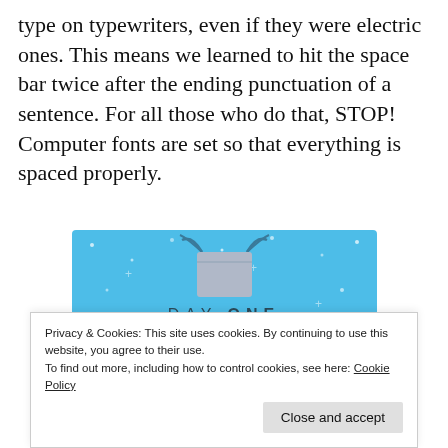type on typewriters, even if they were electric ones. This means we learned to hit the space bar twice after the ending punctuation of a sentence. For all those who do that, STOP! Computer fonts are set so that everything is spaced properly.
[Figure (illustration): Advertisement for Day One journaling app on a blue background with star decorations, showing a figure holding a box, the text 'DAY ONE', subtitle 'The only journaling app you'll ever need.', and a 'Get the app' button.]
Privacy & Cookies: This site uses cookies. By continuing to use this website, you agree to their use.
To find out more, including how to control cookies, see here: Cookie Policy
Close and accept